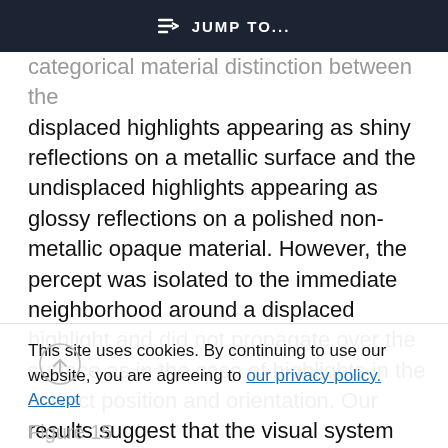⇒ JUMP TO...
categorical material distinction between the displaced highlights appearing as shiny reflections on a metallic surface and the undisplaced highlights appearing as glossy reflections on a polished non-metallic opaque material. However, the percept was isolated to the immediate neighborhood around a displaced highlight and did not propagate over the surface as in the case of highlights in the correct position and orientation. Our results suggest that the visual system estimates the glossiness of natural non-metallic surfaces by assessing the placement of
This site uses cookies. By continuing to use our website, you are agreeing to our privacy policy. Accept
Figure 15